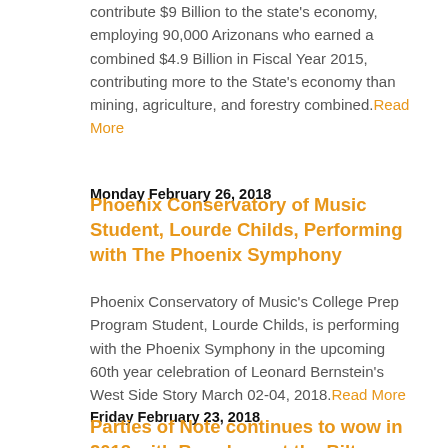contribute $9 Billion to the state's economy, employing 90,000 Arizonans who earned a combined $4.9 Billion in Fiscal Year 2015, contributing more to the State's economy than mining, agriculture, and forestry combined. Read More
Monday February 26, 2018
Phoenix Conservatory of Music Student, Lourde Childs, Performing with The Phoenix Symphony
Phoenix Conservatory of Music's College Prep Program Student, Lourde Childs, is performing with the Phoenix Symphony in the upcoming 60th year celebration of Leonard Bernstein's West Side Story March 02-04, 2018. Read More
Friday February 23, 2018
Parties of Note continues to wow in 2018 with Broadway at the Biltmore
More than 60 guests arrived to the beautifully